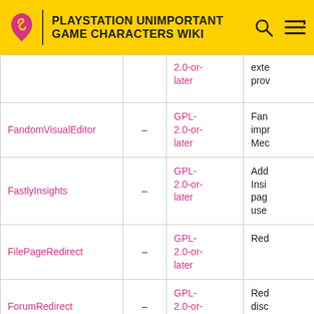PLAYSTATION UNIMPORTANT GAME CHARACTERS WIKI
| Extension |  | License | Description |
| --- | --- | --- | --- |
|  |  | 2.0-or-later | exte prov |
| FandomVisualEditor | – | GPL-2.0-or-later | Fan impr Mec |
| FastlyInsights | – | GPL-2.0-or-later | Add Insi pag use |
| FilePageRedirect | – | GPL-2.0-or-later | Red |
| ForumRedirect | – | GPL-2.0-or-later | Red disc is nc |
|  |  |  |  |